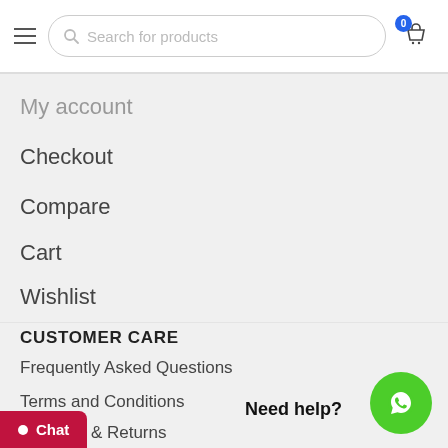Search for products | Cart (0)
My account
Checkout
Compare
Cart
Wishlist
CUSTOMER CARE
Frequently Asked Questions
Terms and Conditions
Shipping & Returns
Privacy Policy
Need help?
[Figure (illustration): WhatsApp contact button (green circle with chat icon)]
Chat